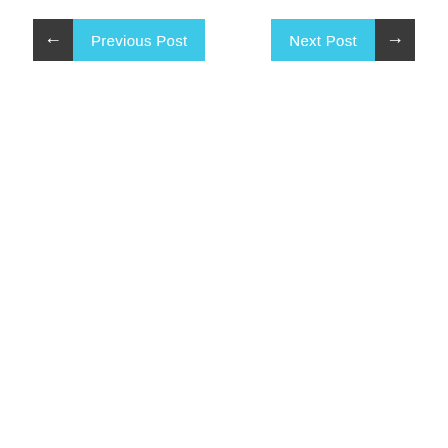[Figure (screenshot): Navigation UI with two buttons: 'Previous Post' on the left (dark arrow box + cyan label) and 'Next Post' on the right (cyan label + dark arrow box)]